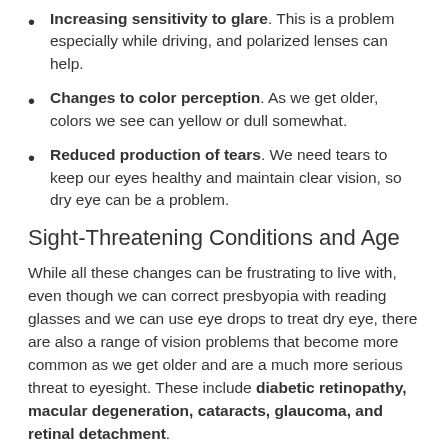Increasing sensitivity to glare. This is a problem especially while driving, and polarized lenses can help.
Changes to color perception. As we get older, colors we see can yellow or dull somewhat.
Reduced production of tears. We need tears to keep our eyes healthy and maintain clear vision, so dry eye can be a problem.
Sight-Threatening Conditions and Age
While all these changes can be frustrating to live with, even though we can correct presbyopia with reading glasses and we can use eye drops to treat dry eye, there are also a range of vision problems that become more common as we get older and are a much more serious threat to eyesight. These include diabetic retinopathy, macular degeneration, cataracts, glaucoma, and retinal detachment.